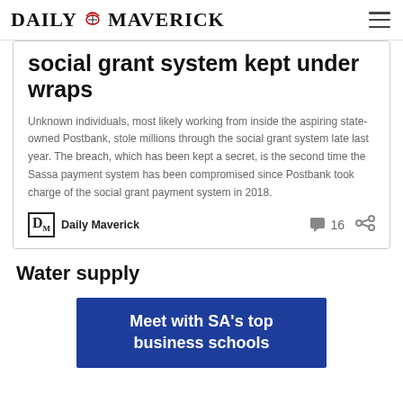DAILY MAVERICK
social grant system kept under wraps
Unknown individuals, most likely working from inside the aspiring state-owned Postbank, stole millions through the social grant system late last year. The breach, which has been kept a secret, is the second time the Sassa payment system has been compromised since Postbank took charge of the social grant payment system in 2018.
Daily Maverick  16
Water supply
[Figure (other): Blue advertisement banner reading 'Meet with SA's top business schools']